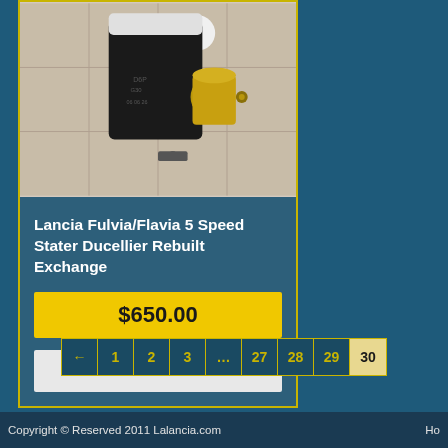[Figure (photo): Photo of a Lancia Fulvia/Flavia 5 Speed Stater Ducellier Rebuilt Exchange automotive starter motor, black with brass/gold colored solenoid, on a light background]
Lancia Fulvia/Flavia 5 Speed Stater Ducellier Rebuilt Exchange
$650.00
Add to cart
← 1 2 3 … 27 28 29 30
Copyright © Reserved 2011 Lalancia.com   Ho